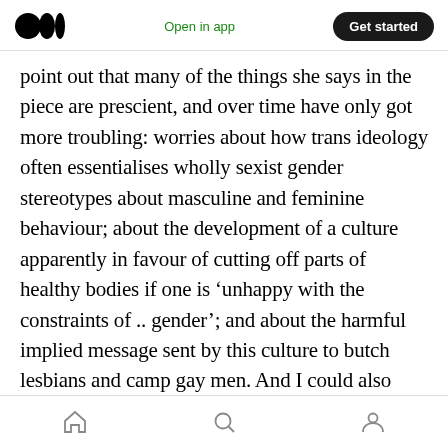Medium logo | Open in app | Get started
point out that many of the things she says in the piece are prescient, and over time have only got more troubling: worries about how trans ideology often essentialises wholly sexist gender stereotypes about masculine and feminine behaviour; about the development of a culture apparently in favour of cutting off parts of healthy bodies if one is ‘unhappy with the constraints of .. gender’; and about the harmful implied message sent by this culture to butch lesbians and camp gay men. And I could also easily manifest the anger I felt, as I read these
Home | Search | Profile